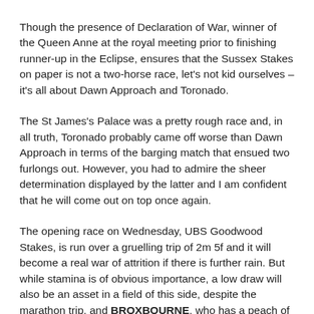Though the presence of Declaration of War, winner of the Queen Anne at the royal meeting prior to finishing runner-up in the Eclipse, ensures that the Sussex Stakes on paper is not a two-horse race, let's not kid ourselves – it's all about Dawn Approach and Toronado.
The St James's Palace was a pretty rough race and, in all truth, Toronado probably came off worse than Dawn Approach in terms of the barging match that ensued two furlongs out. However, you had to admire the sheer determination displayed by the latter and I am confident that he will come out on top once again.
The opening race on Wednesday, UBS Goodwood Stakes, is run over a gruelling trip of 2m 5f and it will become a real war of attrition if there is further rain. But while stamina is of obvious importance, a low draw will also be an asset in a field of this side, despite the marathon trip, and BROXBOURNE, who has a peach of a berth in stall two, looks the one to be on.